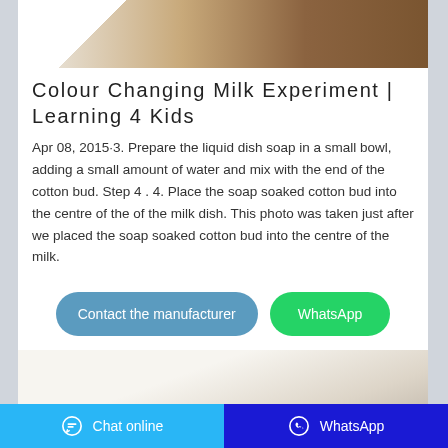[Figure (photo): Top portion of image showing white towel/fabric on wooden surface]
Colour Changing Milk Experiment | Learning 4 Kids
Apr 08, 2015·3. Prepare the liquid dish soap in a small bowl, adding a small amount of water and mix with the end of the cotton bud. Step 4 . 4. Place the soap soaked cotton bud into the centre of the of the milk dish. This photo was taken just after we placed the soap soaked cotton bud into the centre of the milk.
[Figure (screenshot): Contact the manufacturer button (blue rounded) and WhatsApp button (green rounded)]
[Figure (photo): Bottom image showing light cream/beige fabric texture]
Chat online   WhatsApp